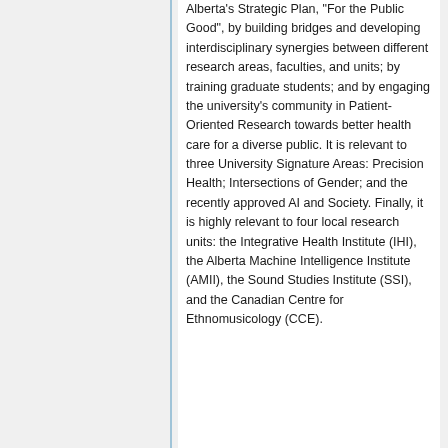Alberta's Strategic Plan, "For the Public Good", by building bridges and developing interdisciplinary synergies between different research areas, faculties, and units; by training graduate students; and by engaging the university's community in Patient-Oriented Research towards better health care for a diverse public. It is relevant to three University Signature Areas: Precision Health; Intersections of Gender; and the recently approved AI and Society. Finally, it is highly relevant to four local research units: the Integrative Health Institute (IHI), the Alberta Machine Intelligence Institute (AMII), the Sound Studies Institute (SSI), and the Canadian Centre for Ethnomusicology (CCE).